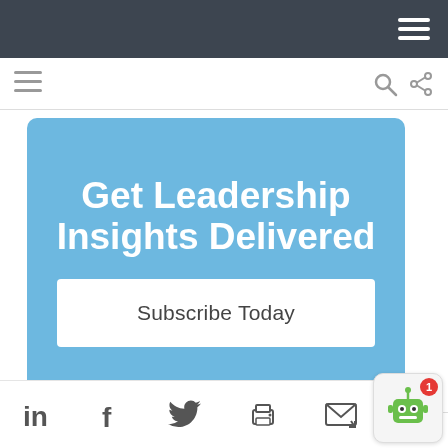[Figure (screenshot): Dark top navigation bar with hamburger menu icon (three white horizontal lines) on the right]
[Figure (screenshot): White secondary navigation bar with hamburger icon on left and search and share icons on right]
Get Leadership Insights Delivered
Subscribe Today
[Figure (screenshot): Footer social sharing bar with LinkedIn, Facebook, Twitter, print, email icons and robot chat widget with notification badge showing 1]